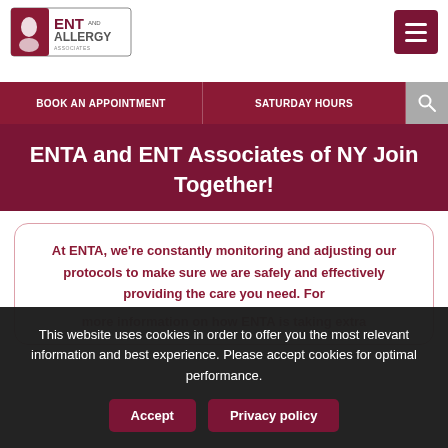ENT and Allergy Associates — entandallergy.com
ENTA and ENT Associates of NY Join Together!
At ENTA, we're constantly monitoring and adjusting our protocols to make sure we are safely and effectively providing the care you need. For more information on how ENTA is taking extra possible ... pandemic.
This website uses cookies in order to offer you the most relevant information and best experience. Please accept cookies for optimal performance.